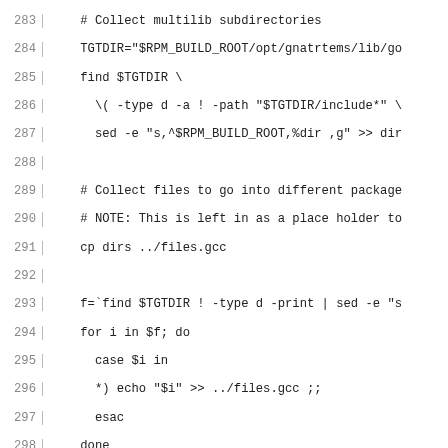Code listing lines 283-312 showing shell script and RPM spec file content